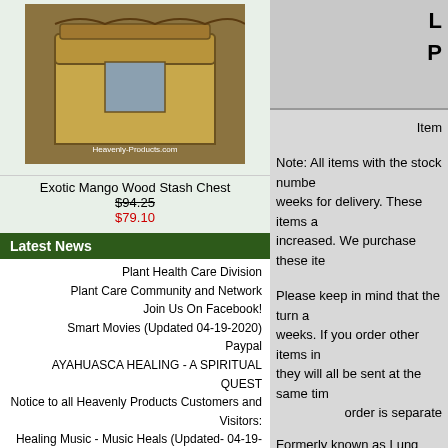[Figure (photo): Exotic Mango Wood Stash Chest product photo]
Exotic Mango Wood Stash Chest
$94.25
$79.10
Latest News
Plant Health Care Division
Plant Care Community and Network
Join Us On Facebook!
Smart Movies (Updated 04-19-2020)
Paypal
AYAHUASCA HEALING - A SPIRITUAL QUEST
Notice to all Heavenly Products Customers and Visitors:
Healing Music - Music Heals (Updated- 04-19-2020)
News For August- (updated 8-18-2022)
Information
Shipping & Returns
Privacy Notice
Point Program FAQ
Contact Us
Auctions
[Figure (logo): eBay logo]
L
P
Item
Note: All items with the stock numbe... weeks for delivery. These items a... increased. We purchase these ite...
Please keep in mind that the turn a... weeks. If you order other items in... they will all be sent at the same tim... order is separate...
Formerly known as Lung Tea, this ... and chest are...
Contains: Organic Echinacea pur... organic Pleurisy root, organic Lic... barks, organic O...
There is nothing more satisfying an...